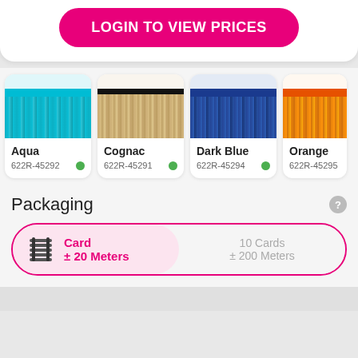LOGIN TO VIEW PRICES
[Figure (photo): Aqua fringe trim swatch]
Aqua
622R-45292
[Figure (photo): Cognac fringe trim swatch]
Cognac
622R-45291
[Figure (photo): Dark Blue fringe trim swatch]
Dark Blue
622R-45294
[Figure (photo): Orange fringe trim swatch (partially visible)]
Orange
622R-45295
Packaging
Card
± 20 Meters
10 Cards
± 200 Meters